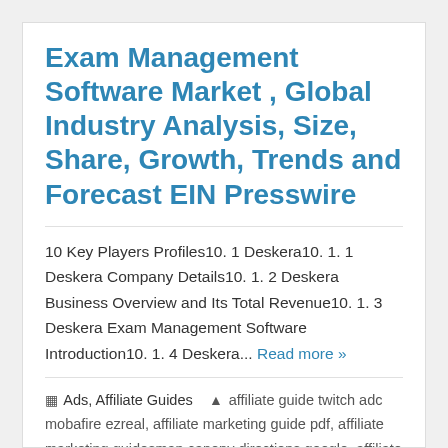Exam Management Software Market , Global Industry Analysis, Size, Share, Growth, Trends and Forecast EIN Presswire
10 Key Players Profiles10. 1 Deskera10. 1. 1 Deskera Company Details10. 1. 2 Deskera Business Overview and Its Total Revenue10. 1. 3 Deskera Exam Management Software Introduction10. 1. 4 Deskera... Read more »
Ads, Affiliate Guides   affiliate guide twitch adc mobafire ezreal, affiliate marketing guide pdf, affiliate marketing guidesman canopy directions google, affiliate